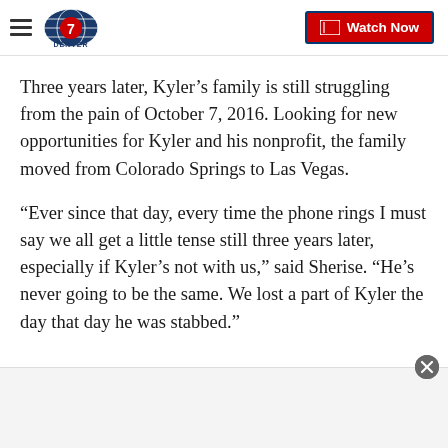Denver7 — Watch Now
Three years later, Kyler’s family is still struggling from the pain of October 7, 2016. Looking for new opportunities for Kyler and his nonprofit, the family moved from Colorado Springs to Las Vegas.
“Ever since that day, every time the phone rings I must say we all get a little tense still three years later, especially if Kyler’s not with us,” said Sherise. “He’s never going to be the same. We lost a part of Kyler the day that day he was stabbed.”
[Figure (other): Advertisement banner at the bottom of the page with a close (X) button]